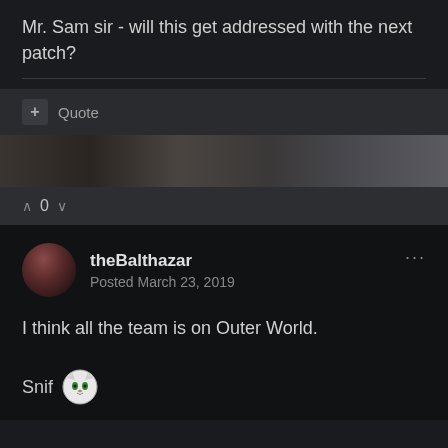Mr. Sam sir - will this get addressed with the next patch?
+ Quote
[Figure (photo): Blurred banner image]
^ 0 v
theBalthazar
Posted March 23, 2019
I think all the team is on Outer World.
Snif